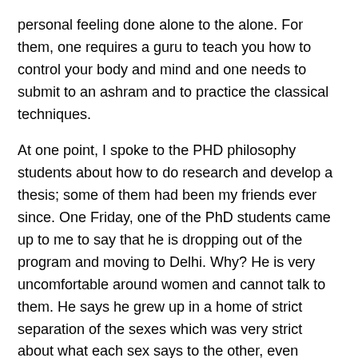personal feeling done alone to the alone. For them, one requires a guru to teach you how to control your body and mind and one needs to submit to an ashram and to practice the classical techniques.
At one point, I spoke to the PHD philosophy students about how to do research and develop a thesis; some of them had been my friends ever since. One Friday, one of the PhD students came up to me to say that he is dropping out of the program and moving to Delhi. Why? He is very uncomfortable around women and cannot talk to them. He says he grew up in a home of strict separation of the sexes which was very strict about what each sex says to the other, even sibling do not cross the line. So like Raj on the Big Bang theory he cannot talk to women one to one.